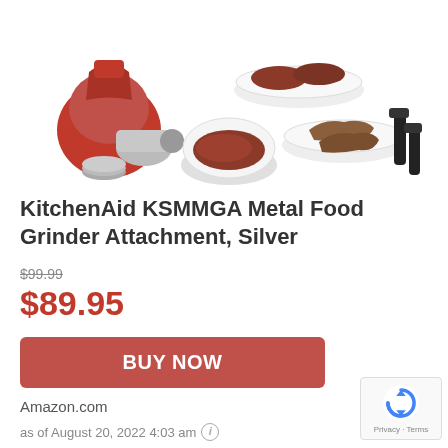[Figure (photo): KitchenAid metal food grinder attachment with red mixer piece, grinder discs, bowls of ground meat, sausage links, and black stuffing tubes]
KitchenAid KSMMGA Metal Food Grinder Attachment, Silver
$99.99 (strikethrough old price)
$89.95 (sale price)
BUY NOW
Amazon.com
as of August 20, 2022 4:03 am